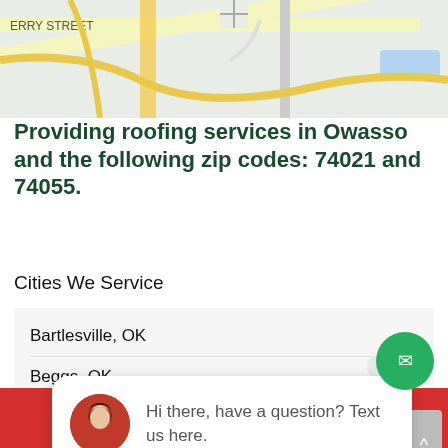[Figure (screenshot): Google Maps screenshot showing street map with 1st Priority Roofing Tulsa marker and ERRY STREET label, highway 44 visible]
Providing roofing services in Owasso and the following zip codes: 74021 and 74055.
Cities We Service
Bartlesville, OK
Beggs, OK
Bixby, OK
Bristow, OK
Broken Arrow, OK
[Figure (screenshot): Chat widget popup with female avatar photo and text: Hi there, have a question? Text us here. Close button visible.]
TAP TO CALL NOW